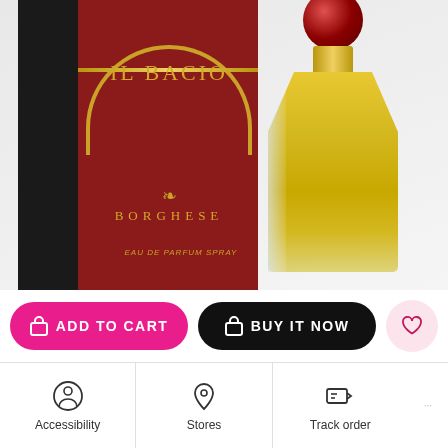[Figure (photo): Il Bacio by Borghese Eau de Parfum Spray product photo showing box packaging on the left with dark green/black and dark red colors with gold lettering, and a glass perfume bottle filled with golden/yellow liquid with a red rounded cap on the right.]
ADD TO CART
BUY IT NOW
Accessibility
Stores
Track order